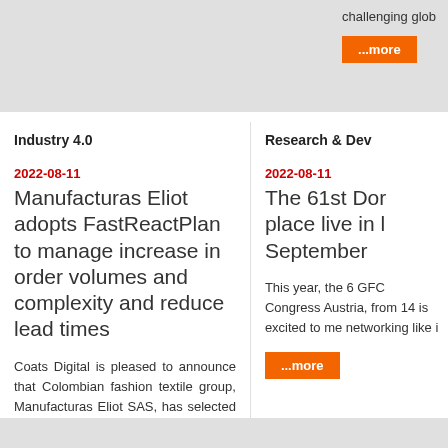challenging glob
...more
Industry 4.0
Research & Dev
2022-08-11
Manufacturas Eliot adopts FastReactPlan to manage increase in order volumes and complexity and reduce lead times
Coats Digital is pleased to announce that Colombian fashion textile group, Manufacturas Eliot SAS, has selected Coats Digital's FastReactPlan to digitally transform its supply chain - enabling it to respond in an agile and integrated way to growing market requirements, reduce its manufacturing lead times and manage its complex network of sewing manufacturers effectively.
...more
2022-08-11
The 61st Dor place live in l September
This year, the 6 GFC Congress Austria, from 14 is excited to me networking like i
...more